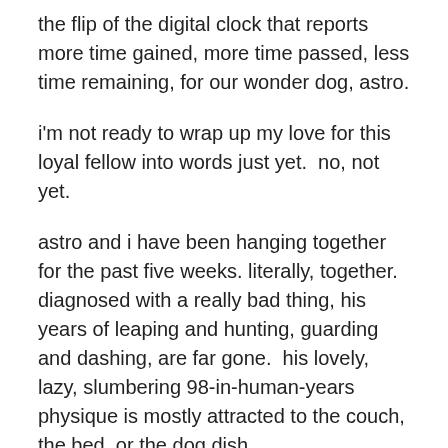the flip of the digital clock that reports more time gained, more time passed, less time remaining, for our wonder dog, astro.
i'm not ready to wrap up my love for this loyal fellow into words just yet.  no, not yet.
astro and i have been hanging together for the past five weeks. literally, together.  diagnosed with a really bad thing, his years of leaping and hunting, guarding and dashing, are far gone.  his lovely, lazy, slumbering 98-in-human-years physique is mostly attracted to the couch, the bed, or the dog dish.
and who can blame him?
so the pickle for me is, now that the symptoms led to the numerous visits to the vet and old-timey surgeon, a